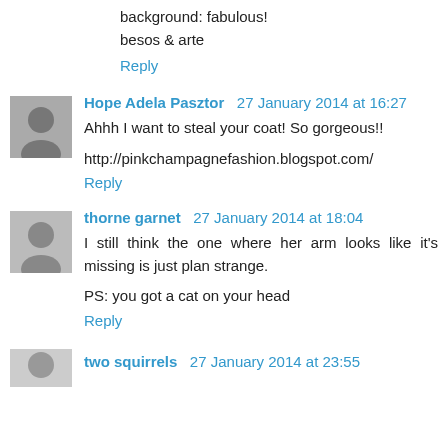background: fabulous!
besos & arte
Reply
Hope Adela Pasztor  27 January 2014 at 16:27
Ahhh I want to steal your coat! So gorgeous!!
http://pinkchampagnefashion.blogspot.com/
Reply
thorne garnet  27 January 2014 at 18:04
I still think the one where her arm looks like it's missing is just plan strange.
PS: you got a cat on your head
Reply
two squirrels  27 January 2014 at 23:55